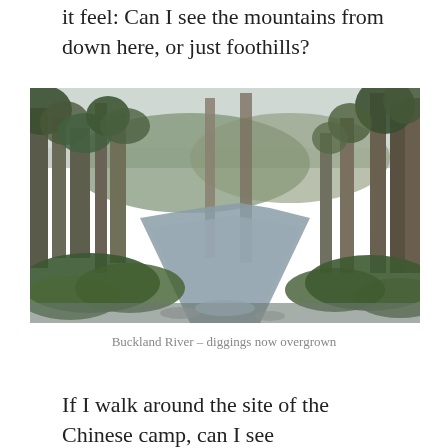it feel: Can I see the mountains from down here, or just foothills?
[Figure (photo): A river flowing through dense Australian bush forest with tall eucalyptus trees on both sides, overcast sky, lush green undergrowth, and a rocky riverbed visible in the foreground.]
Buckland River – diggings now overgrown
If I walk around the site of the Chinese camp, can I see